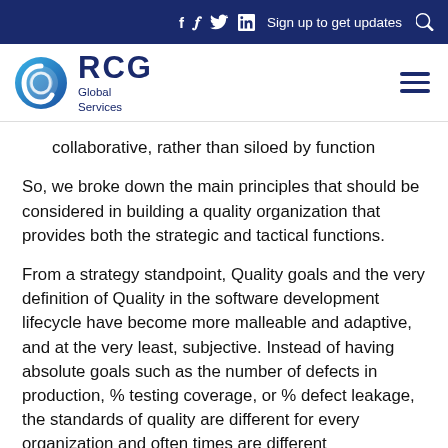f  𝒟  in  Sign up to get updates  🔍
[Figure (logo): RCG Global Services logo with blue circle icon on the left and hamburger menu on the right]
collaborative, rather than siloed by function
So, we broke down the main principles that should be considered in building a quality organization that provides both the strategic and tactical functions.
From a strategy standpoint, Quality goals and the very definition of Quality in the software development lifecycle have become more malleable and adaptive, and at the very least, subjective. Instead of having absolute goals such as the number of defects in production, % testing coverage, or % defect leakage, the standards of quality are different for every organization and often times are different